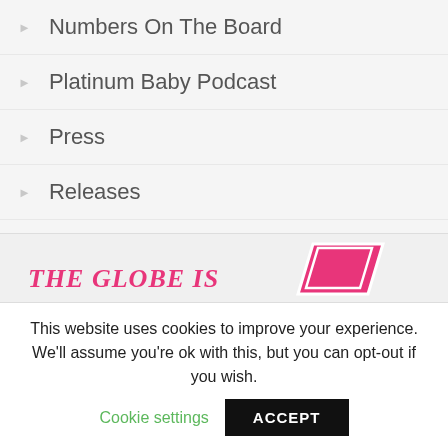Numbers On The Board
Platinum Baby Podcast
Press
Releases
Sponsored
Uncategorized
[Figure (illustration): Partial view of a website banner showing italic pink text 'THE GLOBE IS' and a pink parallelogram/book icon on a light grey background]
This website uses cookies to improve your experience. We'll assume you're ok with this, but you can opt-out if you wish.
Cookie settings  ACCEPT